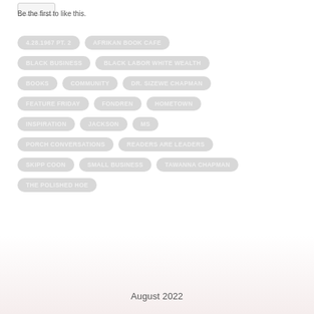Be the first to like this.
4.28.1967 PT. 2
AFRIKAN BOOK CAFE
BLACK BUSINESS
BLACK LABOR WHITE WEALTH
BOOKS
COMMUNITY
DR. SIZEWE CHAPMAN
FEATURE FRIDAY
FONDREN
HOMETOWN
INSPIRATION
JACKSON
MS
PORCH CONVERSATIONS
READERS ARE LEADERS
SKIPP COON
SMALL BUSINESS
TAWANNA CHAPMAN
THE POLISHED HOE
August 2022